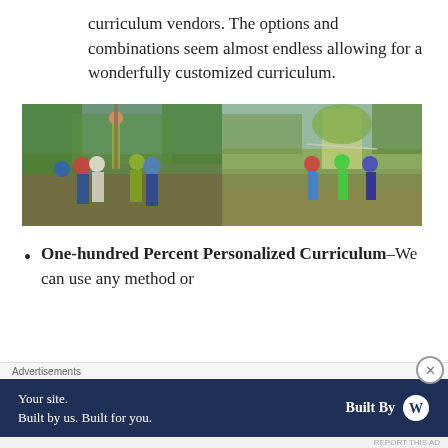curriculum vendors. The options and combinations seem almost endless allowing for a wonderfully customized curriculum.
[Figure (photo): Two outdoor photos side by side: left photo shows a group of children and an adult examining something together in a natural outdoor setting with trees; right photo shows children standing in a dry brushy landscape with trees in the background.]
One-hundred Percent Personalized Curriculum–We can use any method or
Advertisements
Your site. Built by us. Built for you.   Built By [WordPress logo]